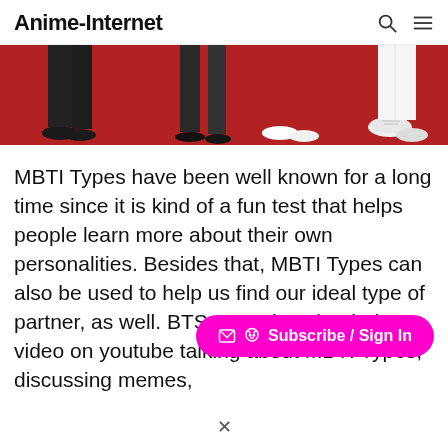Anime-Internet
[Figure (photo): Red carpet photo showing feet and shoes of several people standing on a red carpet]
MBTI Types have been well known for a long time since it is kind of a fun test that helps people learn more about their own personalities. Besides that, MBTI Types can also be used to help us find our ideal type of partner, as well. BTS recently uploaded a video on youtube talking about MBTI Types, discussing memes,
Subscribe / Sign In